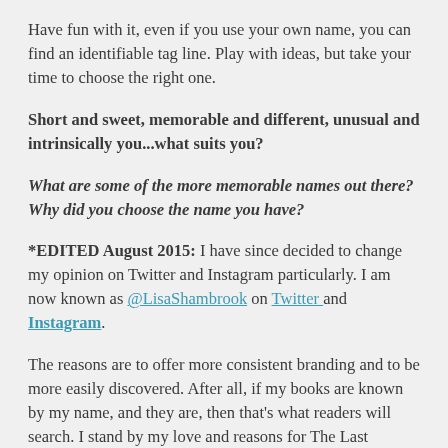Have fun with it, even if you use your own name, you can find an identifiable tag line. Play with ideas, but take your time to choose the right one.
Short and sweet, memorable and different, unusual and intrinsically you...what suits you?
What are some of the more memorable names out there? Why did you choose the name you have?
*EDITED August 2015: I have since decided to change my opinion on Twitter and Instagram particularly. I am now known as @LisaShambrook on Twitter and Instagram.
The reasons are to offer more consistent branding and to be more easily discovered. After all, if my books are known by my name, and they are, then that's what readers will search. I stand by my love and reasons for The Last Krystallos and my